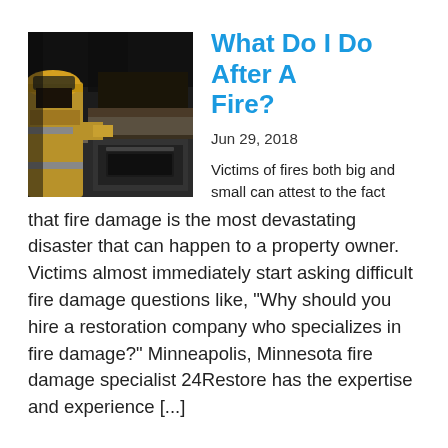[Figure (photo): Firefighter in full gear examining a fire-damaged kitchen with scorched walls and a blackened stove/oven]
What Do I Do After A Fire?
Jun 29, 2018
Victims of fires both big and small can attest to the fact that fire damage is the most devastating disaster that can happen to a property owner. Victims almost immediately start asking difficult fire damage questions like, “Why should you hire a restoration company who specializes in fire damage?” Minneapolis, Minnesota fire damage specialist 24Restore has the expertise and experience [...]